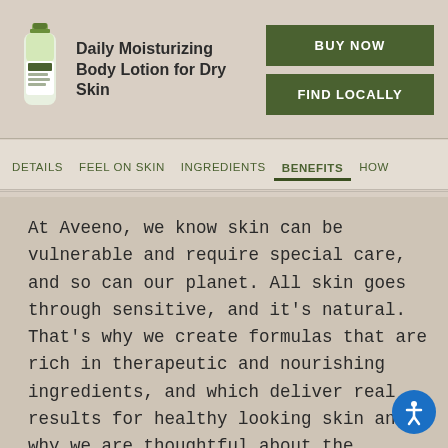[Figure (photo): Aveeno Daily Moisturizing Body Lotion bottle]
Daily Moisturizing Body Lotion for Dry Skin
BUY NOW
FIND LOCALLY
DETAILS   FEEL ON SKIN   INGREDIENTS   BENEFITS   HOW
At Aveeno, we know skin can be vulnerable and require special care, and so can our planet. All skin goes through sensitive, and it's natural. That's why we create formulas that are rich in therapeutic and nourishing ingredients, and which deliver real results for healthy looking skin and why we are thoughtful about the choices we make toward reducing the environmental footprint of our products.